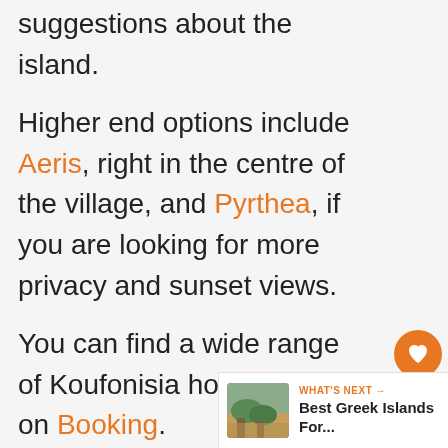suggestions about the island.
Higher end options include Aeris, right in the centre of the village, and Pyrthea, if you are looking for more privacy and sunset views.
You can find a wide range of Koufonisia hotel choices on Booking.
[Figure (other): Social sidebar widget with orange heart/like button showing count 6, and a share button below]
[Figure (other): What's Next widget showing thumbnail of beach scene and text 'Best Greek Islands For...']